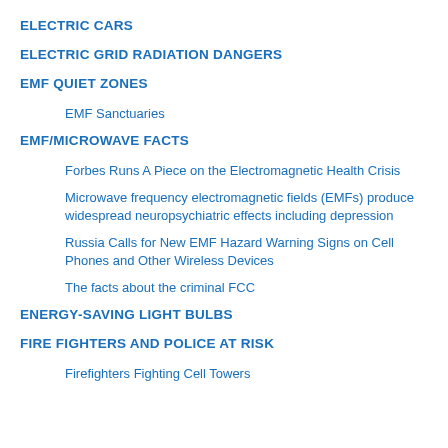ELECTRIC CARS
ELECTRIC GRID RADIATION DANGERS
EMF QUIET ZONES
EMF Sanctuaries
EMF/MICROWAVE FACTS
Forbes Runs A Piece on the Electromagnetic Health Crisis
Microwave frequency electromagnetic fields (EMFs) produce widespread neuropsychiatric effects including depression
Russia Calls for New EMF Hazard Warning Signs on Cell Phones and Other Wireless Devices
The facts about the criminal FCC
ENERGY-SAVING LIGHT BULBS
FIRE FIGHTERS AND POLICE AT RISK
Firefighters Fighting Cell Towers